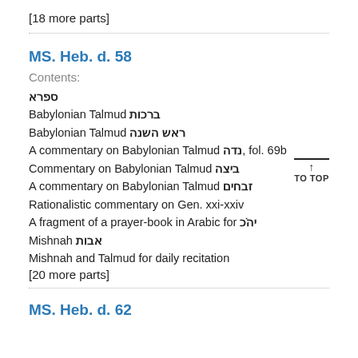[18 more parts]
MS. Heb. d. 58
Contents:
ספרא
Babylonian Talmud ברכות
Babylonian Talmud ראש השנה
A commentary on Babylonian Talmud נדה, fol. 69b
Commentary on Babylonian Talmud ביצה
A commentary on Babylonian Talmud זבחים
Rationalistic commentary on Gen. xxi-xxiv
A fragment of a prayer-book in Arabic for יהֹכ
Mishnah אבות
Mishnah and Talmud for daily recitation
[20 more parts]
MS. Heb. d. 62